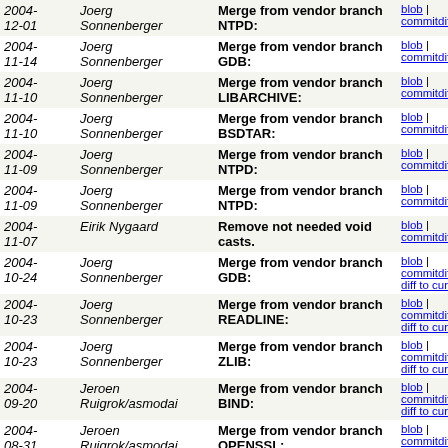| Date | Author | Description | Links |
| --- | --- | --- | --- |
| 2004-12-01 | Joerg Sonnenberger | Merge from vendor branch NTPD: | blob | commitdiff |
| 2004-11-14 | Joerg Sonnenberger | Merge from vendor branch GDB: | blob | commitdiff |
| 2004-11-10 | Joerg Sonnenberger | Merge from vendor branch LIBARCHIVE: | blob | commitdiff |
| 2004-11-10 | Joerg Sonnenberger | Merge from vendor branch BSDTAR: | blob | commitdiff |
| 2004-11-09 | Joerg Sonnenberger | Merge from vendor branch NTPD: | blob | commitdiff |
| 2004-11-09 | Joerg Sonnenberger | Merge from vendor branch NTPD: | blob | commitdiff |
| 2004-11-07 | Eirik Nygaard | Remove not needed void casts. | blob | commitdiff |
| 2004-10-24 | Joerg Sonnenberger | Merge from vendor branch GDB: | blob | commitdiff | diff to current |
| 2004-10-23 | Joerg Sonnenberger | Merge from vendor branch READLINE: | blob | commitdiff | diff to current |
| 2004-10-23 | Joerg Sonnenberger | Merge from vendor branch ZLIB: | blob | commitdiff | diff to current |
| 2004-09-20 | Jeroen Ruigrok/asmodai | Merge from vendor branch BIND: | blob | commitdiff | diff to current |
| 2004-08-31 | Jeroen Ruigrok/asmodai | Merge from vendor branch OPENSSL: | blob | commitdiff | diff to current |
| 2004-08-30 | Scott Ullrich | Merge from vendor branch OPENSSH: | blob | commitdiff | diff to current |